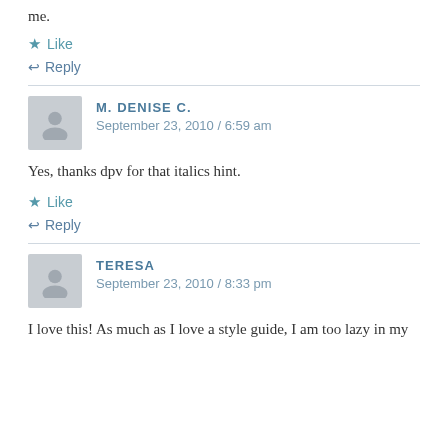me.
★ Like
↩ Reply
M. DENISE C.
September 23, 2010 / 6:59 am
Yes, thanks dpv for that italics hint.
★ Like
↩ Reply
TERESA
September 23, 2010 / 8:33 pm
I love this! As much as I love a style guide, I am too lazy in my